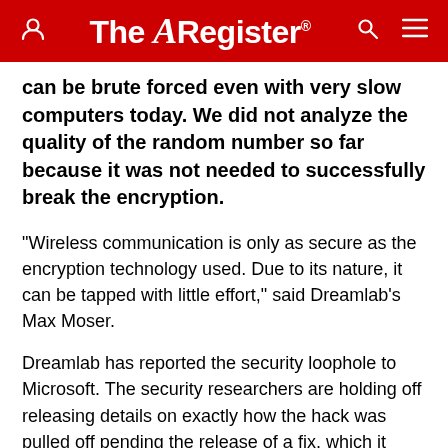The Register®
can be brute forced even with very slow computers today. We did not analyze the quality of the random number so far because it was not needed to successfully break the encryption.
"Wireless communication is only as secure as the encryption technology used. Due to its nature, it can be tapped with little effort," said Dreamlab's Max Moser.
Dreamlab has reported the security loophole to Microsoft. The security researchers are holding off releasing details on exactly how the hack was pulled off pending the release of a fix, which it reckons may be a difficult and drawn-out process. The security researchers have however published a video of the